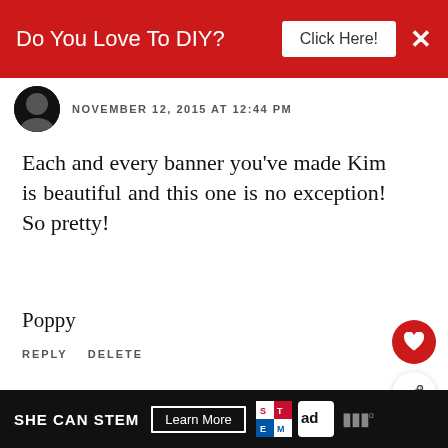[Figure (screenshot): Red advertisement banner: 'Do You Love To DIY? Click Here!' with X close button]
NOVEMBER 12, 2015 AT 12:44 PM
Each and every banner you've made Kim is beautiful and this one is no exception! So pretty!
Poppy
REPLY   DELETE
▾   REPLIES
Kim
NOVEMBER 16, 2015 AT 7:
Thank you so much, Poppy!
[Figure (infographic): What's Next panel showing Give Thanks Printable...]
[Figure (infographic): SHE CAN STEM advertisement banner with Learn More button and ad council logo]